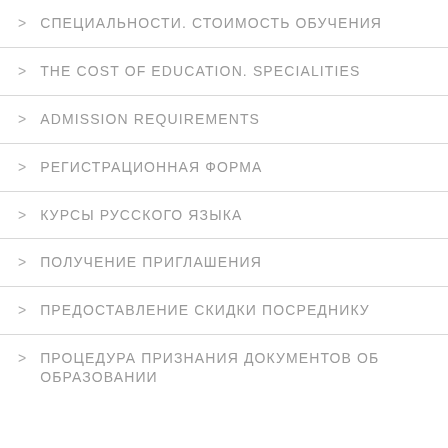> СПЕЦИАЛЬНОСТИ. СТОИМОСТЬ ОБУЧЕНИЯ
> THE COST OF EDUCATION. SPECIALITIES
> ADMISSION REQUIREMENTS
> РЕГИСТРАЦИОННАЯ ФОРМА
> КУРСЫ РУССКОГО ЯЗЫКА
> ПОЛУЧЕНИЕ ПРИГЛАШЕНИЯ
> ПРЕДОСТАВЛЕНИЕ СКИДКИ ПОСРЕДНИКУ
> ПРОЦЕДУРА ПРИЗНАНИЯ ДОКУМЕНТОВ ОБ ОБРАЗОВАНИИ